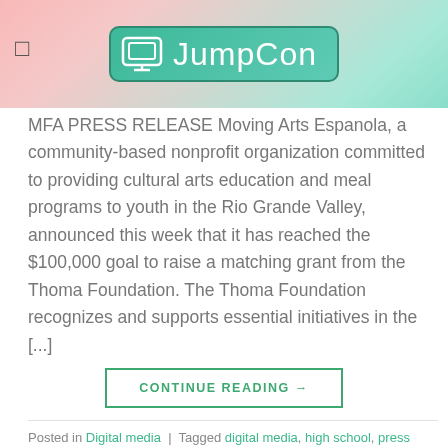JumpCon
MFA PRESS RELEASE Moving Arts Espanola, a community-based nonprofit organization committed to providing cultural arts education and meal programs to youth in the Rio Grande Valley, announced this week that it has reached the $100,000 goal to raise a matching grant from the Thoma Foundation. The Thoma Foundation recognizes and supports essential initiatives in the [...]
CONTINUE READING →
Posted in Digital media | Tagged digital media, high school, press release
DIGITAL MEDIA
Building Pacific digital media skills in the middle of a cyclone – it's part of the job